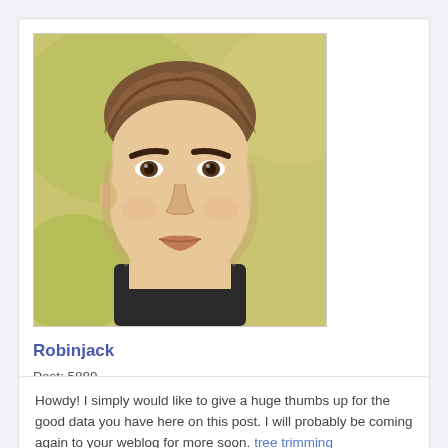[Figure (photo): Profile photo of a young man with styled brown hair, strong eyebrows, posed against a blurred outdoor background]
Robinjack
Post: 5889
Rank: 0
Howdy! I simply would like to give a huge thumbs up for the good data you have here on this post. I will probably be coming again to your weblog for more soon. tree trimming